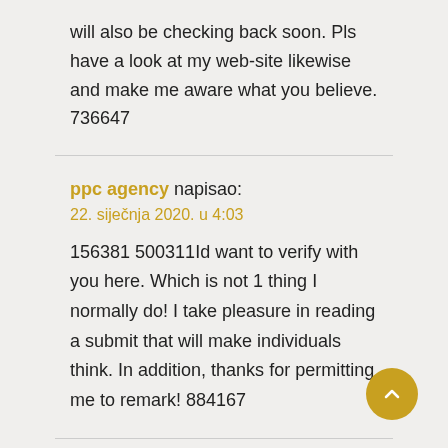will also be checking back soon. Pls have a look at my web-site likewise and make me aware what you believe. 736647
ppc agency napisao:
22. siječnja 2020. u 4:03
156381 500311Id want to verify with you here. Which is not 1 thing I normally do! I take pleasure in reading a submit that will make individuals think. In addition, thanks for permitting me to remark! 884167
copy best quality breitling clones napisao:
22. siječnja 2020. u 12:04